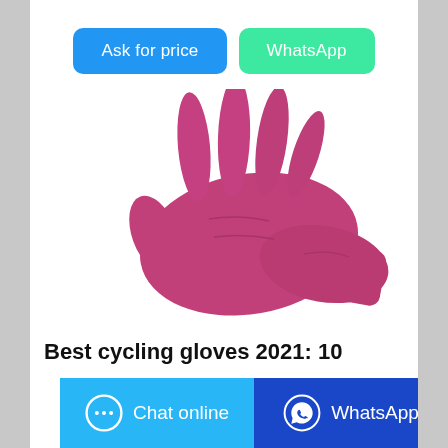[Figure (other): Two call-to-action buttons: blue 'Ask for price' button and green 'WhatsApp' button]
[Figure (photo): A pink/magenta nitrile disposable glove laid flat on white background, fingers spread open]
Best cycling gloves 2021: 10
[Figure (other): Bottom navigation bar with two buttons: light blue 'Chat online' button with chat bubble icon on left, and dark blue 'WhatsApp' button with WhatsApp logo on right]